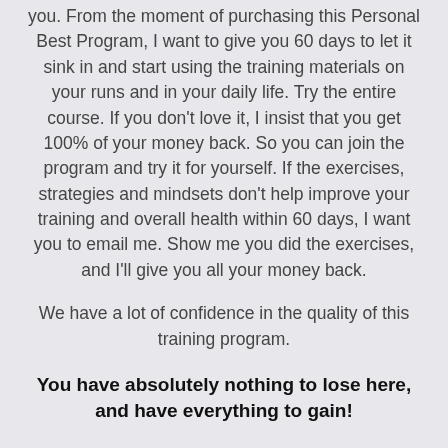you. From the moment of purchasing this Personal Best Program, I want to give you 60 days to let it sink in and start using the training materials on your runs and in your daily life. Try the entire course. If you don't love it, I insist that you get 100% of your money back. So you can join the program and try it for yourself. If the exercises, strategies and mindsets don't help improve your training and overall health within 60 days, I want you to email me. Show me you did the exercises, and I'll give you all your money back.
We have a lot of confidence in the quality of this training program.
You have absolutely nothing to lose here, and have everything to gain!